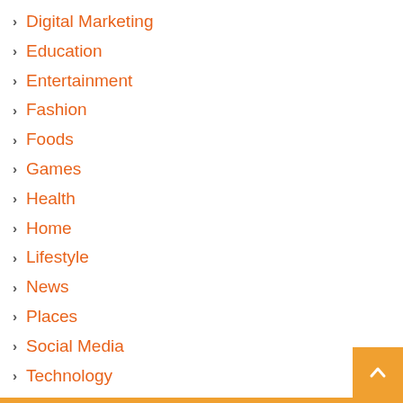Digital Marketing
Education
Entertainment
Fashion
Foods
Games
Health
Home
Lifestyle
News
Places
Social Media
Technology
Tips